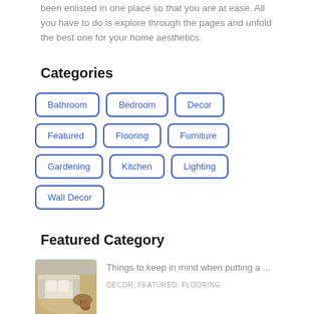been enlisted in one place so that you are at ease. All you have to do is explore through the pages and unfold the best one for your home aesthetics.
Categories
Bathroom
Bedroom
Decor
Featured
Flooring
Furniture
Gardening
Kitchen
Lighting
Wall Decor
Featured Category
[Figure (photo): Living room scene with beige sofa, round wooden coffee table, and area rug on floor]
Things to keep in mind when putting a ...
DECOR, FEATURED, FLOORING